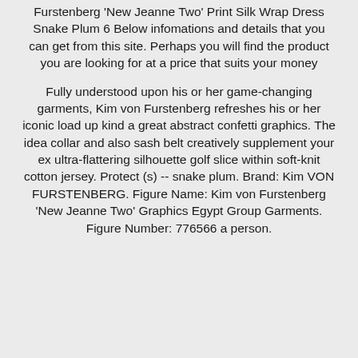Furstenberg 'New Jeanne Two' Print Silk Wrap Dress Snake Plum 6 Below infomations and details that you can get from this site. Perhaps you will find the product you are looking for at a price that suits your money
Fully understood upon his or her game-changing garments, Kim von Furstenberg refreshes his or her iconic load up kind a great abstract confetti graphics. The idea collar and also sash belt creatively supplement your ex ultra-flattering silhouette golf slice within soft-knit cotton jersey. Protect (s) -- snake plum. Brand: Kim VON FURSTENBERG. Figure Name: Kim von Furstenberg 'New Jeanne Two' Graphics Egypt Group Garments. Figure Number: 776566 a person.